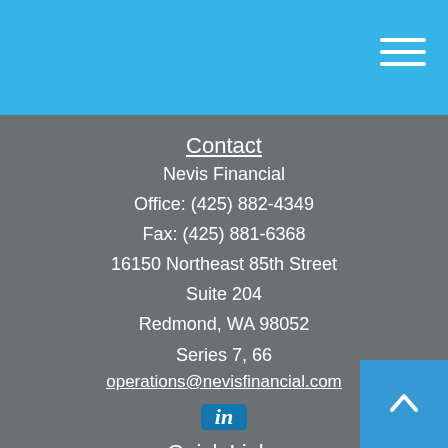Nevis Financial header with hamburger menu
Contact
Nevis Financial
Office: (425) 882-4349
Fax: (425) 881-6368
16150 Northeast 85th Street
Suite 204
Redmond, WA 98052
Series 7, 66
operations@nevisfinancial.com
[Figure (logo): LinkedIn icon - blue square with 'in' text]
Quick Links
Retirement
Investment
Estate